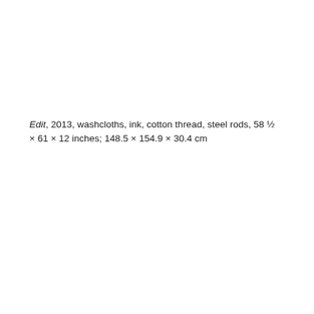Edit, 2013, washcloths, ink, cotton thread, steel rods, 58 ½ × 61 × 12 inches; 148.5 × 154.9 × 30.4 cm